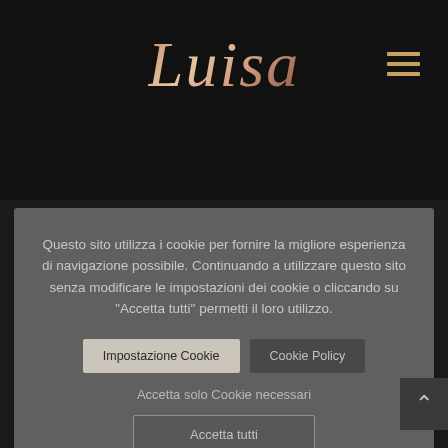[Figure (logo): Stylized cursive script logo reading 'Luisa' in rose-gold/copper gradient color on dark background]
Questo sito utilizza i cookie per fornire la migliore esperienza di navigazione possibile. Continuando a utilizzare questo sito senza modificare le impostazioni dei cookie o cliccando su "Accetta tutti" permetti il loro utilizzo.
Impostazione Cookie
Cookie Policy
Accetta solo Cookie necessari
Accetta tutti
PEDIATRICO DELL'OSPEDALE SS.ANNUNZIATA DI TARANTO)